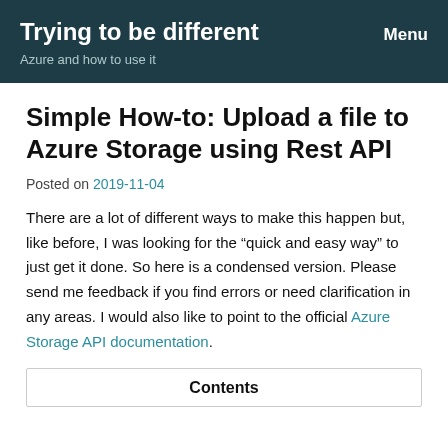Trying to be different
Azure and how to use it
Menu
Simple How-to: Upload a file to Azure Storage using Rest API
Posted on 2019-11-04
There are a lot of different ways to make this happen but, like before, I was looking for the “quick and easy way” to just get it done. So here is a condensed version. Please send me feedback if you find errors or need clarification in any areas. I would also like to point to the official Azure Storage API documentation.
Contents